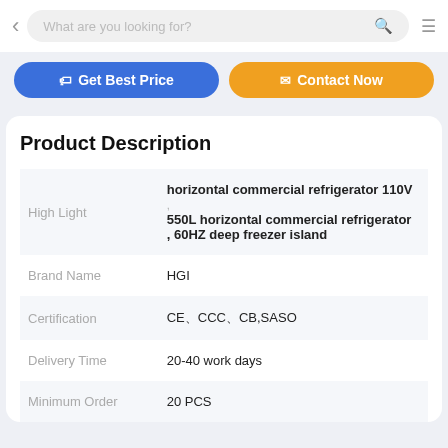What are you looking for?
Get Best Price   Contact Now
Product Description
|  |  |
| --- | --- |
| High Light | horizontal commercial refrigerator 110V
, 550L horizontal commercial refrigerator
, 60HZ deep freezer island |
| Brand Name | HGI |
| Certification | CE、CCC、CB,SASO |
| Delivery Time | 20-40 work days |
| Minimum Order | 20 PCS |